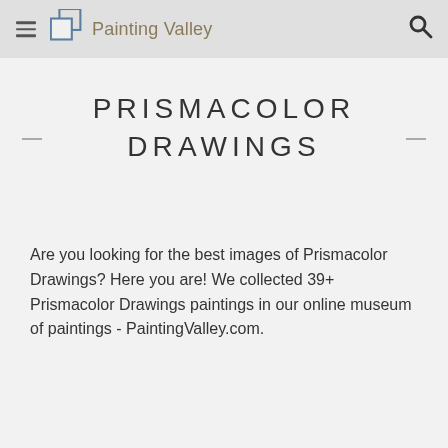Painting Valley
PRISMACOLOR DRAWINGS
Are you looking for the best images of Prismacolor Drawings? Here you are! We collected 39+ Prismacolor Drawings paintings in our online museum of paintings - PaintingValley.com.